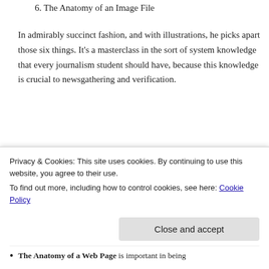6. The Anatomy of an Image File
In admirably succinct fashion, and with illustrations, he picks apart those six things. It’s a masterclass in the sort of system knowledge that every journalism student should have, because this knowledge is crucial to newsgathering and verification.
Advertisements
[Figure (other): Advertisement banner with dark navy background reading 'Opinions. We all have them!' with WordPress and Report logo icons on the right.]
Here are just some of the ways:
Privacy & Cookies: This site uses cookies. By continuing to use this website, you agree to their use.
To find out more, including how to control cookies, see here: Cookie Policy
The Anatomy of a Web Page is important in being